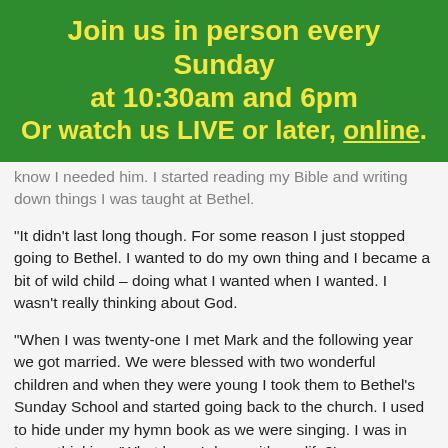Join us in person every Sunday at 10:30am and 6pm
Or watch us LIVE or later, online.
know I needed him. I started reading my Bible and writing down things I was taught at Bethel.
“It didn’t last long though. For some reason I just stopped going to Bethel. I wanted to do my own thing and I became a bit of wild child – doing what I wanted when I wanted. I wasn’t really thinking about God.
“When I was twenty-one I met Mark and the following year we got married. We were blessed with two wonderful children and when they were young I took them to Bethel’s Sunday School and started going back to the church. I used to hide under my hymn book as we were singing. I was in tears, thinking, ‘What have I done with my life?’
“I realised what a fool I’d been, but I knew God was working in